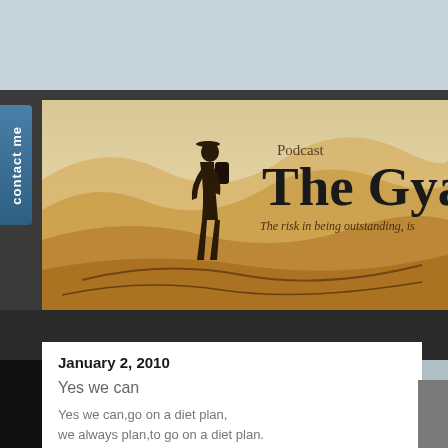[Figure (screenshot): Website screenshot showing a blog header banner with desert/dune background, a person silhouette, and text 'Podcast / The Gyan' with tagline 'The risk in being outstanding, is...' on a warm sandy/sepia toned background]
contact me
Podcast
The Gyan
The risk in being outstanding, is
January 2, 2010
Yes we can
Yes we can,go on a diet plan,
we always plan,to go on a diet plan.